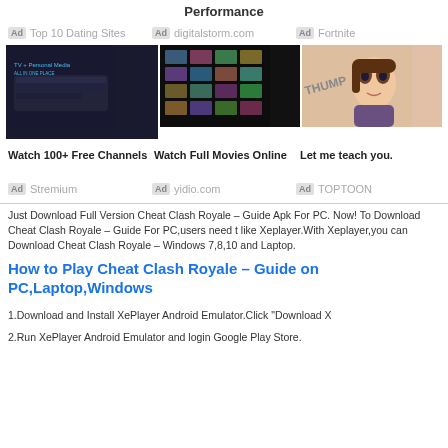Performance
Ad Top 10 Dating Sites   Ad digitalstorm.com   Ad Fortnite
[Figure (photo): Three advertisement image blocks: dark keyboard/TV media device, grid of video thumbnails, anime character illustration]
Watch 100+ Free Channels   Watch Full Movies Online   Let me teach you.
Ad Stremium   Ad yidio.com   Ad TOPTOON
Just Download Full Version Cheat Clash Royale – Guide Apk For PC. Now! To Download Cheat Clash Royale – Guide For PC,users need t like Xeplayer.With Xeplayer,you can Download Cheat Clash Royale – Windows 7,8,10 and Laptop.
How to Play Cheat Clash Royale – Guide on PC,Laptop,Windows
1.Download and Install XePlayer Android Emulator.Click "Download X
2.Run XePlayer Android Emulator and login Google Play Store.